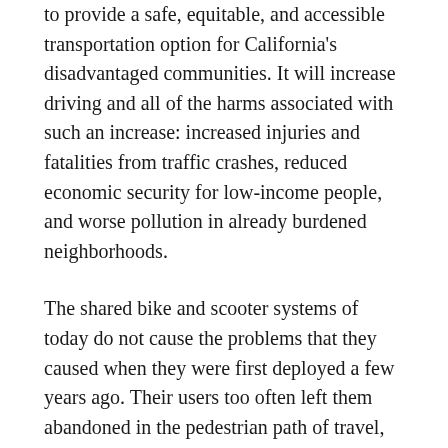to provide a safe, equitable, and accessible transportation option for California's disadvantaged communities. It will increase driving and all of the harms associated with such an increase: increased injuries and fatalities from traffic crashes, reduced economic security for low-income people, and worse pollution in already burdened neighborhoods.
The shared bike and scooter systems of today do not cause the problems that they caused when they were first deployed a few years ago. Their users too often left them abandoned in the pedestrian path of travel, posing a hazard to people walking, which is especially problematic for people with vision impairments. Sometimes their users, especially when on a scooter, operate them on the sidewalk where they could crash into a pedestrian. As central to our advocacy for equitable and inclusive